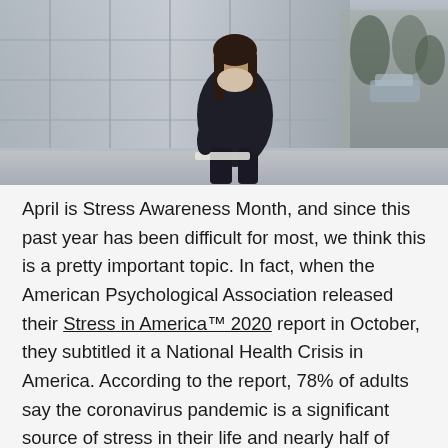[Figure (photo): A person sitting outside on steps in front of a glass building, hunched over with head down, appearing stressed. They are wearing dark clothing and holding papers.]
April is Stress Awareness Month, and since this past year has been difficult for most, we think this is a pretty important topic. In fact, when the American Psychological Association released their Stress in America™ 2020 report in October, they subtitled it a National Health Crisis in America. According to the report, 78% of adults say the coronavirus pandemic is a significant source of stress in their life and nearly half of adults report their behavior has been negatively impacted.
If you are stressed out, it's okay. So is most of America.